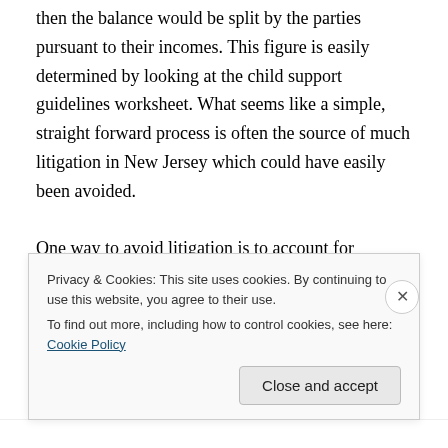then the balance would be split by the parties pursuant to their incomes. This figure is easily determined by looking at the child support guidelines worksheet. What seems like a simple, straight forward process is often the source of much litigation in New Jersey which could have easily been avoided.

One way to avoid litigation is to account for recurring and predictable expenses in the child support guidelines. Of course, this is not possible for most children but when it is, it can be helpful to cut down on litigation. Thus, if a child
Privacy & Cookies: This site uses cookies. By continuing to use this website, you agree to their use.
To find out more, including how to control cookies, see here: Cookie Policy